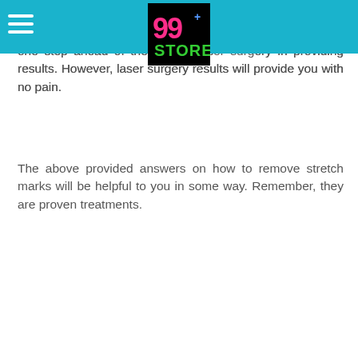and laser surgery are working but there will be a little pain be experienced in the case of microdermabrasion. This is one step ahead of the normal laser surgery in providing results. However, laser surgery results will provide you with no pain.
The above provided answers on how to remove stretch marks will be helpful to you in some way. Remember, they are proven treatments.